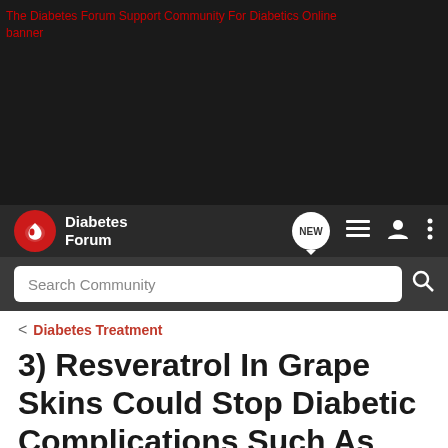[Figure (screenshot): Dark website header with broken banner image showing alt text 'The Diabetes Forum Support Community For Diabetics Online banner' in red, navigation bar with Diabetes Forum logo, NEW badge, list icon, user icon, menu icon, and search bar]
< Diabetes Treatment
3) Resveratrol In Grape Skins Could Stop Diabetic Complications Such As Heart Disease
→ Jump to Latest
+ Follow